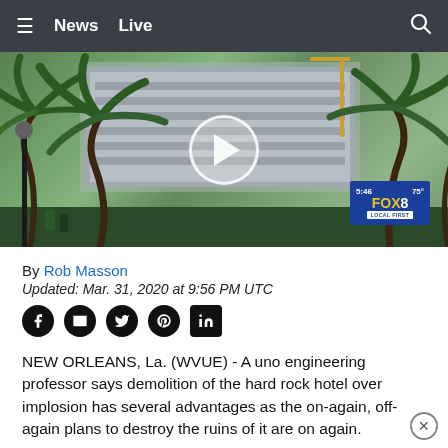≡  News  Live
[Figure (screenshot): Video thumbnail showing a collapsed building (Hard Rock Hotel) with palm trees in the foreground. A play button is centered over the image. FOX8 LOCAL FIRST bug is visible in the lower right showing 5:46 and 75°.]
By Rob Masson
Updated: Mar. 31, 2020 at 9:56 PM UTC
[Figure (other): Social sharing icons row: Facebook, Email, Twitter, Pinterest, LinkedIn]
NEW ORLEANS, La. (WVUE) - A uno engineering professor says demolition of the hard rock hotel over implosion has several advantages as the on-again, off-again plans to destroy the ruins of it are on again.
But with the owners now calling for a demolition instead of